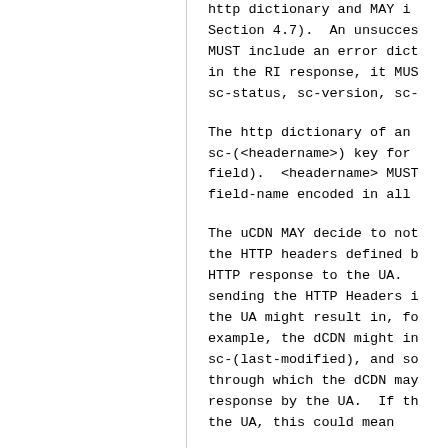http dictionary and MAY i Section 4.7).  An unsucces MUST include an error dict in the RI response, it MUS sc-status, sc-version, sc-
The http dictionary of an sc-(<headername>) key for field).  <headername> MUST field-name encoded in all
The uCDN MAY decide to not the HTTP headers defined b HTTP response to the UA.  sending the HTTP Headers i the UA might result in, fo example, the dCDN might in sc-(last-modified), and so through which the dCDN may response by the UA.  If th the UA, this could mean